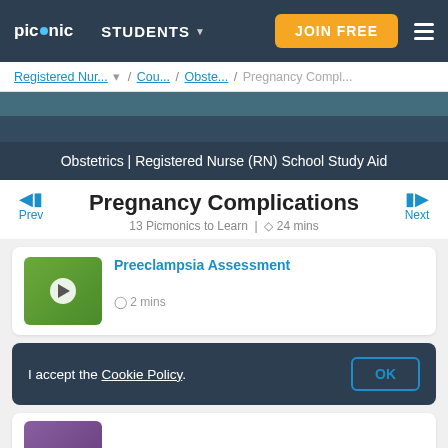picmonic | STUDENTS ▾ | JOIN FREE
Registered Nur... ▾ / Cou... / Obste... / Pregnancy Compl...
Obstetrics | Registered Nurse (RN) School Study Aid
Pregnancy Complications
13 Picmonics to Learn | ⊙ 24 mins
Prev
Next
Preeclampsia Assessment
⊙ 2 mins
I accept the Cookie Policy.
OK